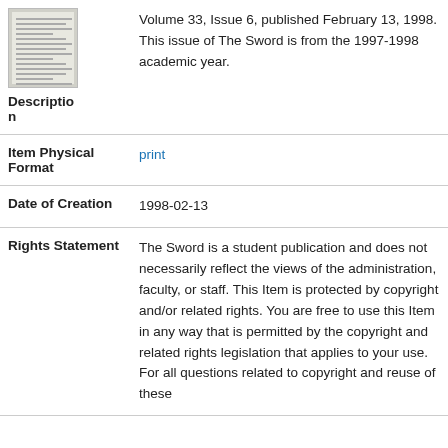[Figure (photo): Thumbnail image of a newspaper page (The Sword)]
Description
Volume 33, Issue 6, published February 13, 1998. This issue of The Sword is from the 1997-1998 academic year.
Item Physical Format
print
Date of Creation
1998-02-13
Rights Statement
The Sword is a student publication and does not necessarily reflect the views of the administration, faculty, or staff. This Item is protected by copyright and/or related rights. You are free to use this Item in any way that is permitted by the copyright and related rights legislation that applies to your use. For all questions related to copyright and reuse of these